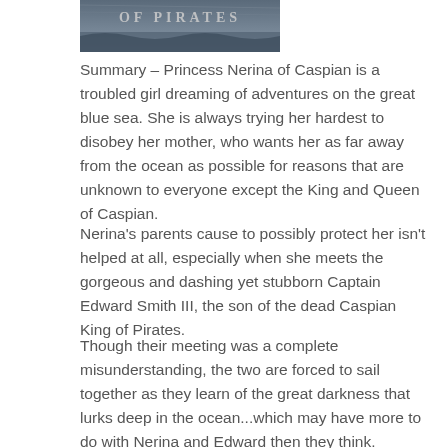[Figure (illustration): Partial book cover image showing text 'PIRATES' at top, dark/moody imagery]
Summary – Princess Nerina of Caspian is a troubled girl dreaming of adventures on the great blue sea. She is always trying her hardest to disobey her mother, who wants her as far away from the ocean as possible for reasons that are unknown to everyone except the King and Queen of Caspian.
Nerina's parents cause to possibly protect her isn't helped at all, especially when she meets the gorgeous and dashing yet stubborn Captain Edward Smith III, the son of the dead Caspian King of Pirates.
Though their meeting was a complete misunderstanding, the two are forced to sail together as they learn of the great darkness that lurks deep in the ocean...which may have more to do with Nerina and Edward then they think.